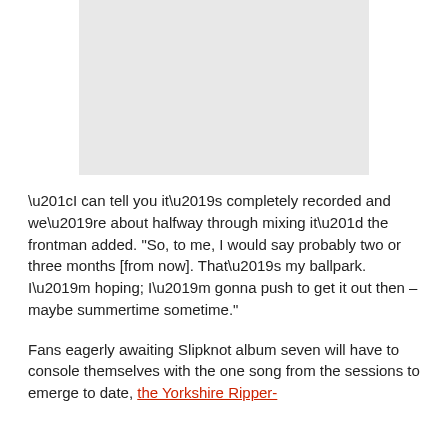[Figure (photo): Gray placeholder image box at the top of the page]
“I can tell you it’s completely recorded and we’re about halfway through mixing it” the frontman added. “So, to me, I would say probably two or three months [from now]. That’s my ballpark. I’m hoping; I’m gonna push to get it out then – maybe summertime sometime.”
Fans eagerly awaiting Slipknot album seven will have to console themselves with the one song from the sessions to emerge to date, the Yorkshire Ripper-